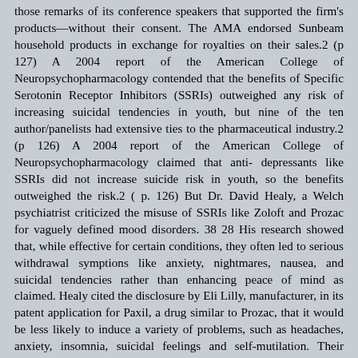those remarks of its conference speakers that supported the firm's products—without their consent. The AMA endorsed Sunbeam household products in exchange for royalties on their sales.2 (p 127) A 2004 report of the American College of Neuropsychopharmacology contended that the benefits of Specific Serotonin Receptor Inhibitors (SSRIs) outweighed any risk of increasing suicidal tendencies in youth, but nine of the ten author/panelists had extensive ties to the pharmaceutical industry.2 (p 126) A 2004 report of the American College of Neuropsychopharmacology claimed that anti- depressants like SSRIs did not increase suicide risk in youth, so the benefits outweighed the risk.2 ( p. 126) But Dr. David Healy, a Welch psychiatrist criticized the misuse of SSRIs like Zoloft and Prozac for vaguely defined mood disorders. 38 28 His research showed that, while effective for certain conditions, they often led to serious withdrawal symptions like anxiety, nightmares, nausea, and suicidal tendencies rather than enhancing peace of mind as claimed. Healy cited the disclosure by Eli Lilly, manufacturer, in its patent application for Paxil, a drug similar to Prozac, that it would be less likely to induce a variety of problems, such as headaches, anxiety, insomnia, suicidal feelings and self-mutilation. Their claims were supported by an FDA warning about SSRI risks—which also noted that placebos were almost as effective.39 Healy's critique contributed to the abrupt denial of an offer of a professorship by the University of Toronto. Excessive commercialism, Angell contends, affects healthcare services too. A HMO's drive to control costs may conflict with their doctors view that more drugs or treatments are needed than HMO management allows.33 Not only may money be deducted from their salaries, some are offered bonuses for saving costs by staying within HMO guidelines. HMO's also shortcut physician